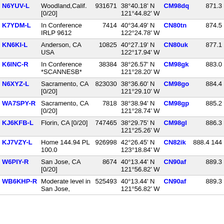| Callsign | Location | Node | Coordinates | Grid | Dist |
| --- | --- | --- | --- | --- | --- |
| N6YUV-L | Woodland,Calif. [0/20] | 931671 | 38°40.18' N 121°44.82' W | CM98dq | 871.3 |
| K7YDM-L | In Conference IRLP 9612 | 7414 | 40°34.49' N 122°24.78' W | CN80tn | 874.5 |
| KN6KI-L | Anderson, CA USA | 10825 | 40°27.19' N 122°17.94' W | CN80uk | 877.1 |
| K6INC-R | In Conference *SCANNESB* | 38384 | 38°26.57' N 121°28.20' W | CM98gk | 883.0 |
| N6XYZ-L | Sacramento, CA [0/20] | 823030 | 38°36.60' N 121°29.10' W | CM98go | 884.4 |
| WA7SPY-R | Sacramento, CA [0/20] | 7818 | 38°38.94' N 121°28.74' W | CM98gp | 885.2 |
| KJ6KFB-L | Florin, CA [0/20] | 747465 | 38°29.75' N 121°25.26' W | CM98gl | 886.3 |
| KJ7VZY-L | Home 144.94 PL 100.0 | 926998 | 42°26.45' N 123°18.84' W | CN82ik | 888.4 |
| W6PIY-R | San Jose, CA [0/20] | 8674 | 40°13.44' N 121°56.82' W | CN90af | 889.3 |
| WB6KHP-R | Moderate level in San Jose, | 525493 | 40°13.44' N 121°56.82' W | CN90af | 889.3 |